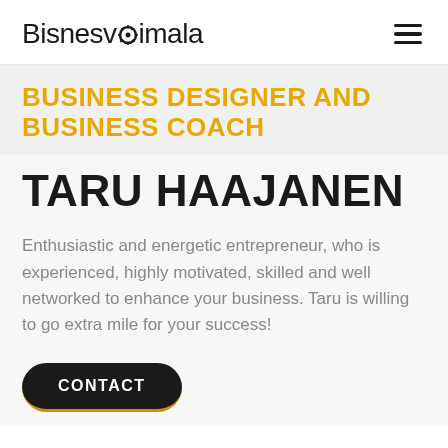Bisnesvoimala
BUSINESS DESIGNER AND BUSINESS COACH
TARU HAAJANEN
Enthusiastic and energetic entrepreneur, who is experienced, highly motivated, skilled and well networked to enhance your business. Taru is willing to go extra mile for your success!
CONTACT